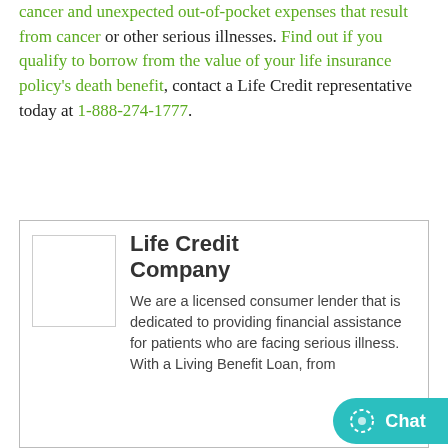cancer and unexpected out-of-pocket expenses that result from cancer or other serious illnesses. Find out if you qualify to borrow from the value of your life insurance policy's death benefit, contact a Life Credit representative today at 1-888-274-1777.
[Figure (logo): Life Credit Company logo placeholder (white rectangle with border)]
Life Credit Company
We are a licensed consumer lender that is dedicated to providing financial assistance for patients who are facing serious illness. With a Living Benefit Loan, from